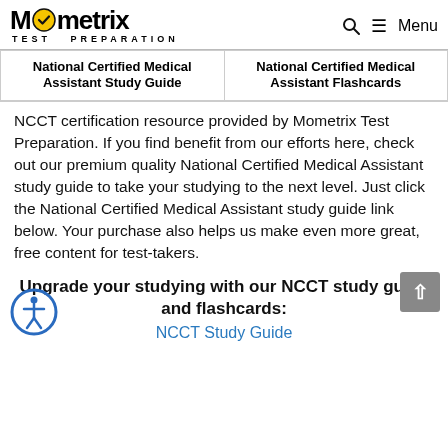Mometrix TEST PREPARATION | Search | Menu
| National Certified Medical Assistant Study Guide | National Certified Medical Assistant Flashcards |
| --- | --- |
NCCT certification resource provided by Mometrix Test Preparation. If you find benefit from our efforts here, check out our premium quality National Certified Medical Assistant study guide to take your studying to the next level. Just click the National Certified Medical Assistant study guide link below. Your purchase also helps us make even more great, free content for test-takers.
Upgrade your studying with our NCCT study guide and flashcards:
NCCT Study Guide